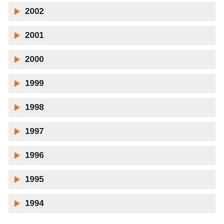2002
2001
2000
1999
1998
1997
1996
1995
1994